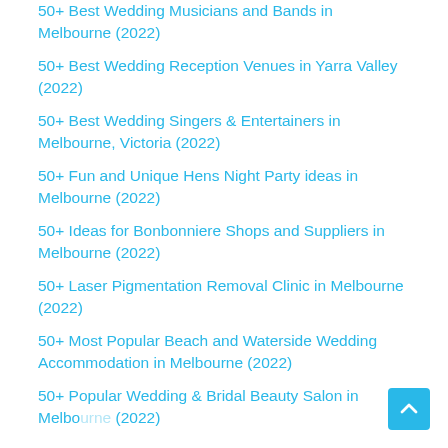50+ Best Wedding Musicians and Bands in Melbourne (2022)
50+ Best Wedding Reception Venues in Yarra Valley (2022)
50+ Best Wedding Singers & Entertainers in Melbourne, Victoria (2022)
50+ Fun and Unique Hens Night Party ideas in Melbourne (2022)
50+ Ideas for Bonbonniere Shops and Suppliers in Melbourne (2022)
50+ Laser Pigmentation Removal Clinic in Melbourne (2022)
50+ Most Popular Beach and Waterside Wedding Accommodation in Melbourne (2022)
50+ Popular Wedding & Bridal Beauty Salon in Melbourne (2022)